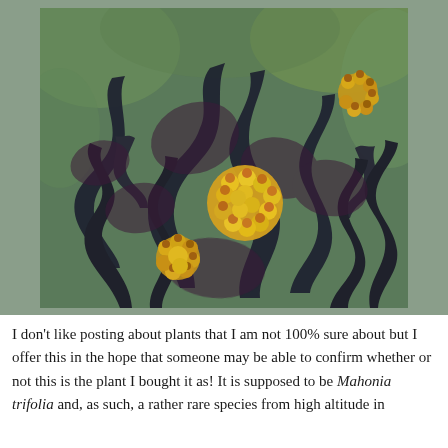[Figure (photo): Close-up photograph of a Mahonia plant with spiky dark green to reddish-purple holly-like leaves and clusters of small yellow and orange-tipped flower buds, against a blurred green background.]
I don't like posting about plants that I am not 100% sure about but I offer this in the hope that someone may be able to confirm whether or not this is the plant I bought it as! It is supposed to be Mahonia trifolia and, as such, a rather rare species from high altitude in